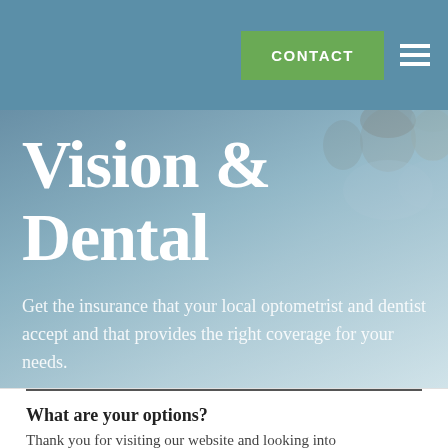CONTACT
Vision & Dental
Get the insurance that your local optometrist and dentist accept and that provides the right coverage for your needs.
What are your options?
Thank you for visiting our website and looking into